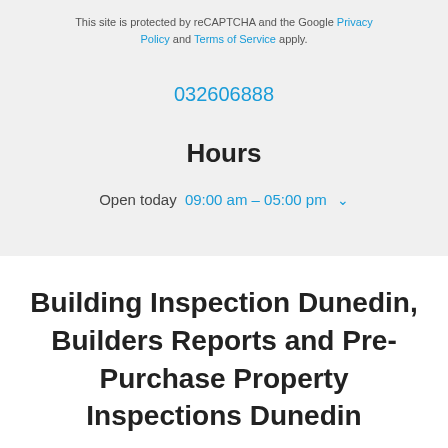This site is protected by reCAPTCHA and the Google Privacy Policy and Terms of Service apply.
032606888
Hours
Open today  09:00 am – 05:00 pm
Building Inspection Dunedin, Builders Reports and Pre-Purchase Property Inspections Dunedin